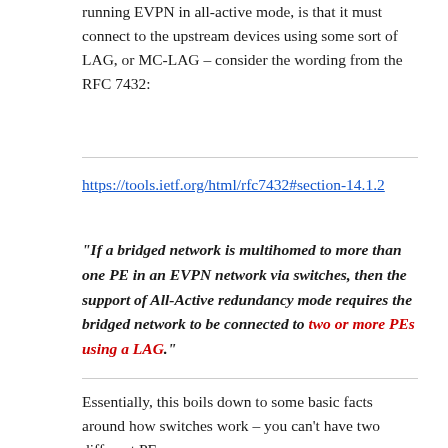running EVPN in all-active mode, is that it must connect to the upstream devices using some sort of LAG, or MC-LAG – consider the wording from the RFC 7432:
https://tools.ietf.org/html/rfc7432#section-14.1.2
“If a bridged network is multihomed to more than one PE in an EVPN network via switches, then the support of All-Active redundancy mode requires the bridged network to be connected to two or more PEs using a LAG.”
Essentially, this boils down to some basic facts around how switches work – you can’t have two different PE